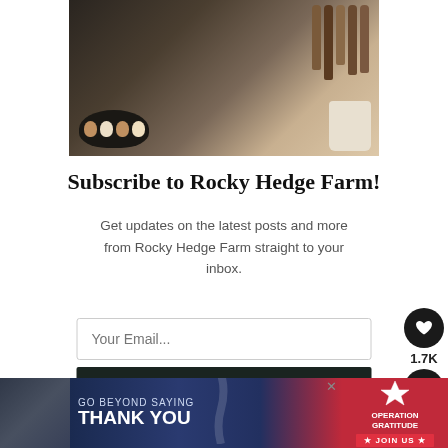[Figure (photo): Kitchen counter scene with wire basket of eggs, wooden spoons in a white crock, hanging pans and utensils in the background]
Subscribe to Rocky Hedge Farm!
Get updates on the latest posts and more from Rocky Hedge Farm straight to your inbox.
Your Email...
SUBSCRIBE
[Figure (screenshot): Advertisement banner: GO BEYOND SAYING THANK YOU — Operation Gratitude JOIN US, with photo of people in military/first responder uniforms]